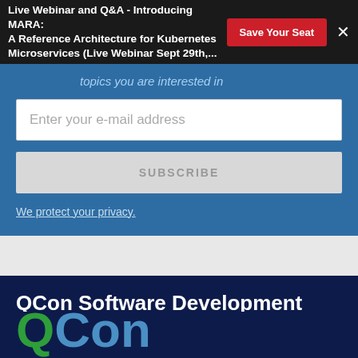Live Webinar and Q&A - Introducing MARA: A Reference Architecture for Kubernetes Microservices (Live Webinar Sept 29th,...
topics you are interested in
[Figure (screenshot): Email input field with placeholder 'Enter your e-mail address']
[Figure (screenshot): Subscribe button (grayed out)]
We protect your privacy.
QCon Software Development Conference
[Figure (logo): QCon logo with green Q and blue Con text]